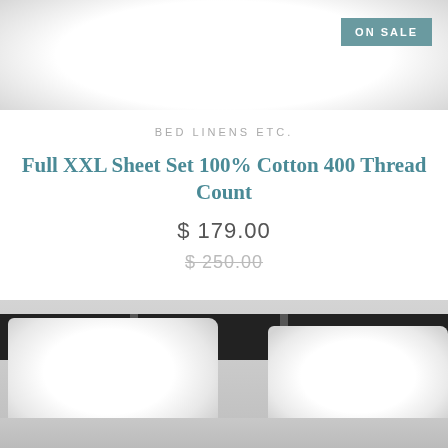[Figure (photo): Close-up photo of white bedding/pillows on a bed, with an 'ON SALE' badge in the top-right corner]
BED LINENS ETC.
Full XXL Sheet Set 100% Cotton 400 Thread Count
$ 179.00
$ 250.00
[Figure (photo): Photo of white pillows against a dark headboard on a bed]